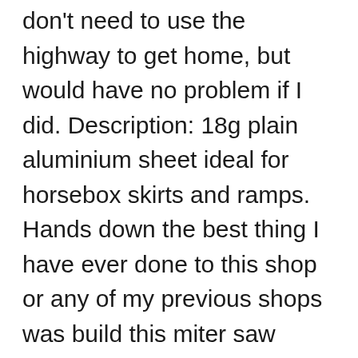don't need to use the highway to get home, but would have no problem if I did. Description: 18g plain aluminium sheet ideal for horsebox skirts and ramps. Hands down the best thing I have ever done to this shop or any of my previous shops was build this miter saw station. Driving off-road on uneven terrain with a loaded roof rack is not recommended. Order online for free next day delivery across the full range of Roof Racks, Roof Bars, Rear Steps, Ladder Loaders & Rhino Roof Rack Accessories. That age old problem of moving 8x4 sheets plasterboard or ply has now been solved..Manufactured by experts created by craftsman . from £396.86 (ex. We supply trade quality DIY and home improvement products at great low prices Factory roof rack with cross bars. Find many great new & used options and get the best deals for